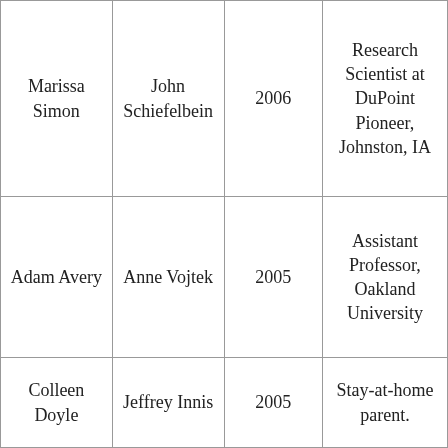| Marissa Simon | John Schiefelbein | 2006 | Research Scientist at DuPoint Pioneer, Johnston, IA |
| Adam Avery | Anne Vojtek | 2005 | Assistant Professor, Oakland University |
| Colleen Doyle | Jeffrey Innis | 2005 | Stay-at-home parent. |